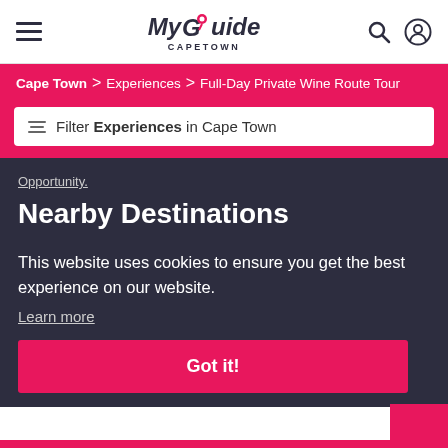My Guide CAPETOWN
Cape Town > Experiences > Full-Day Private Wine Route Tour
Filter Experiences in Cape Town
Opportunity.
Nearby Destinations
This website uses cookies to ensure you get the best experience on our website.
Learn more
Got it!